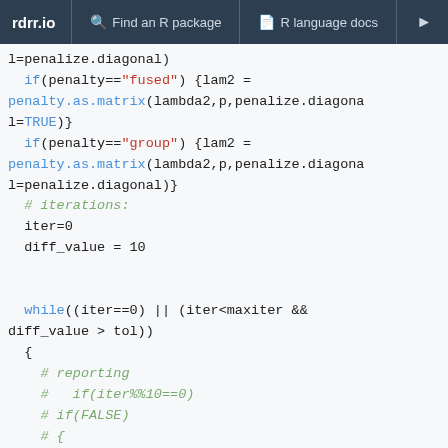rdrr.io   Find an R package   R language docs
[Figure (screenshot): R source code snippet showing penalty matrix assignment with while loop and commented-out reporting block]